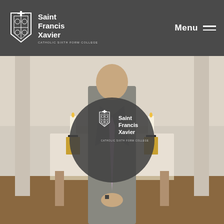Saint Francis Xavier Catholic Sixth Form College — Menu
[Figure (photo): A smiling man in a grey suit standing in front of a chapel altar with candles and golden candlesticks. Over the photo is a circular dark overlay containing the Saint Francis Xavier Catholic Sixth Form College logo.]